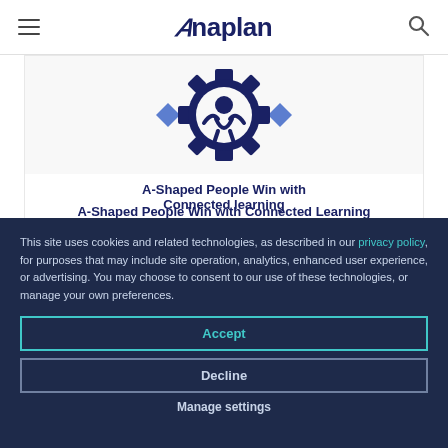Anaplan
[Figure (logo): Anaplan branded icon — dark navy gear/people symbol with blue diamond accents]
A-Shaped People Win with Connected Learning
This site uses cookies and related technologies, as described in our privacy policy, for purposes that may include site operation, analytics, enhanced user experience, or advertising. You may choose to consent to our use of these technologies, or manage your own preferences.
Accept
Decline
Manage settings